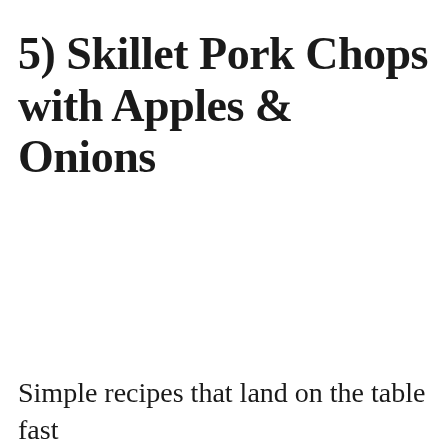5) Skillet Pork Chops with Apples & Onions
Simple recipes that land on the table fast